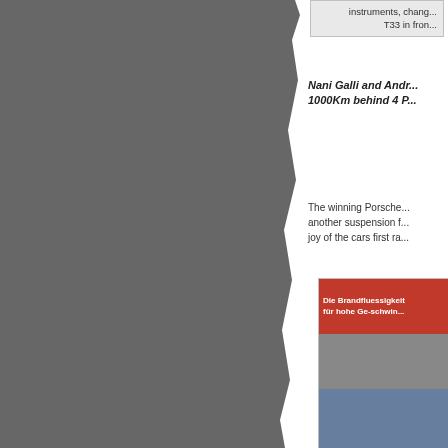[Figure (photo): Left side gray background image, partially visible, with torn/ragged right edge]
instruments, change... T33 in fron...
Nani Galli and Andr... 1000Km behind 4 P...
The winning Porsche... another suspension f... joy of the cars first ra...
[Figure (photo): Photo showing a red sign with German text 'Die Brandfluessigkeit für hohe Ge-schwin...' and a person in blue clothing below]